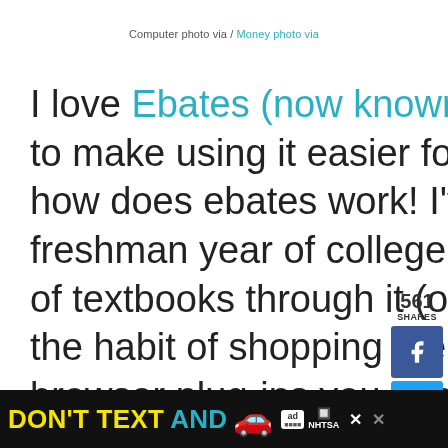Computer photo via / Money photo via
I love Ebates (now known as Rakuten) and want to make using it easier for anyone wondering how does ebates work! I've been using it since freshman year of college – I bought all 4 years of textbooks through it (on Half.com) and got in the habit of shopping there first. (there are also browser plug-ins you can download so it reminds you to use ebates when you go to shop). They've
[Figure (infographic): Social share sidebar with 561 SHARES count, Facebook button, Twitter button, Pinterest heart button, 562 count, and share icon]
[Figure (infographic): Ad banner: DON'T TEXT AND with car emoji, ad badge, NHTSA logo, and close buttons]